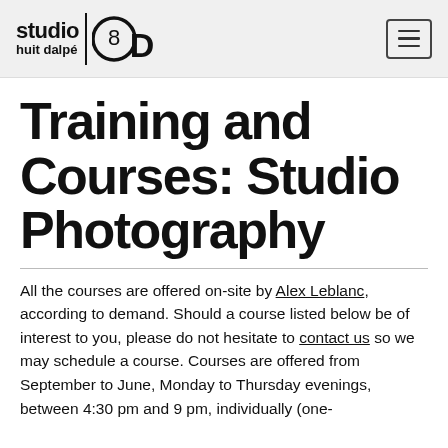studio huit dalpé 8D
Training and Courses: Studio Photography
All the courses are offered on-site by Alex Leblanc, according to demand. Should a course listed below be of interest to you, please do not hesitate to contact us so we may schedule a course. Courses are offered from September to June, Monday to Thursday evenings, between 4:30 pm and 9 pm, individually (one-